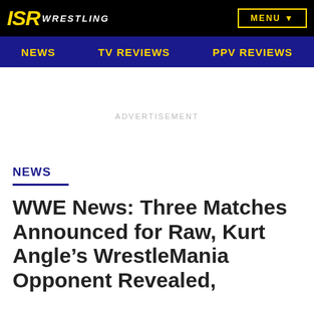ISR WRESTLING | MENU
NEWS | TV REVIEWS | PPV REVIEWS
ADVERTISEMENT
NEWS
WWE News: Three Matches Announced for Raw, Kurt Angle's WrestleMania Opponent Revealed,